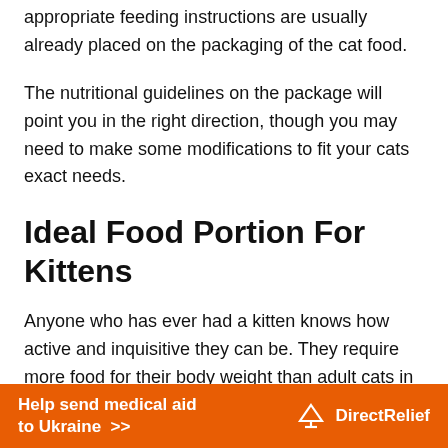appropriate feeding instructions are usually already placed on the packaging of the cat food.
The nutritional guidelines on the package will point you in the right direction, though you may need to make some modifications to fit your cats exact needs.
Ideal Food Portion For Kittens
Anyone who has ever had a kitten knows how active and inquisitive they can be. They require more food for their body weight than adult cats in order for healthy growth and development.
Because kittens can't eat as much as adult cats at one go
[Figure (infographic): Orange advertisement banner: 'Help send medical aid to Ukraine >>' with DirectRelief logo on the right]